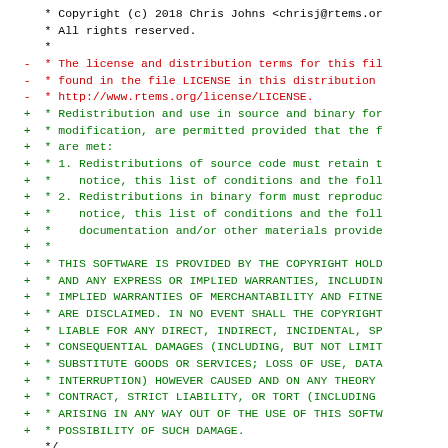Source code diff showing copyright header replacement in a C source file, with removed lines (red) showing old RTEMS license reference and added lines (green) showing new BSD-style redistribution license text, followed by #include <stdint.h>